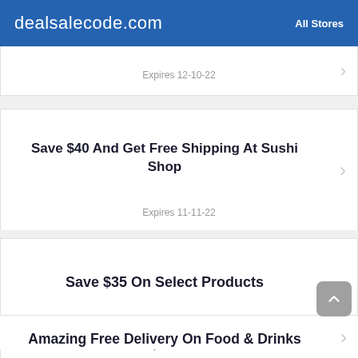dealsalecode.com   All Stores
Expires 12-10-22
Save $40 And Get Free Shipping At Sushi Shop
Expires 11-11-22
Save $35 On Select Products
Expires 11-11-22
Amazing Free Delivery On Food & Drinks